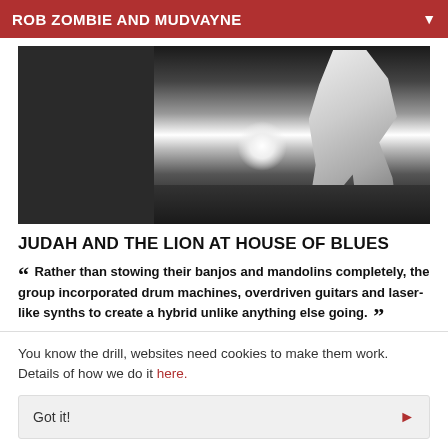ROB ZOMBIE AND MUDVAYNE
[Figure (photo): Black and white concert photo of a performer on stage with bright light, dark background on the left side.]
JUDAH AND THE LION AT HOUSE OF BLUES
“ Rather than stowing their banjos and mandolins completely, the group incorporated drum machines, overdriven guitars and laser-like synths to create a hybrid unlike anything else going. ”
You know the drill, websites need cookies to make them work. Details of how we do it here.
Got it!